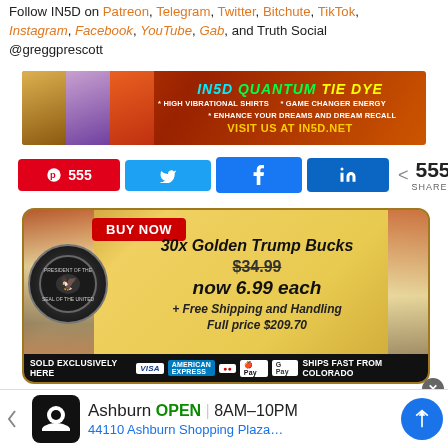Follow IN5D on Patreon, Telegram, Twitter, Bitchute, TikTok, Instagram, Facebook, YouTube, Gab, and Truth Social @greggprescott
[Figure (infographic): IN5D Quantum Tie Dye banner advertisement showing three women wearing tie-dye shirts with text: HIGH VIBRATIONAL SHIRTS, GAME CHANGER ENERGY, ENHANCE YOUR DREAMS AND DREAM RECALL, VISIT US AT IN5D.NET]
[Figure (infographic): Social sharing buttons row: Pinterest 555, Twitter share button, Facebook share button, LinkedIn share button, and share count 555 SHARES]
[Figure (infographic): Advertisement: BUY NOW - 30x Golden Trump Bucks $34.99 now 6.99 each + Free Shipping and Handling Full price $209.70. SOLD EXCLUSIVELY HERE with payment icons and SHIPS FAST FROM COLORADO]
[Figure (infographic): Bottom Google ad: Ashburn OPEN 8AM-10PM 44110 Ashburn Shopping Plaza...]